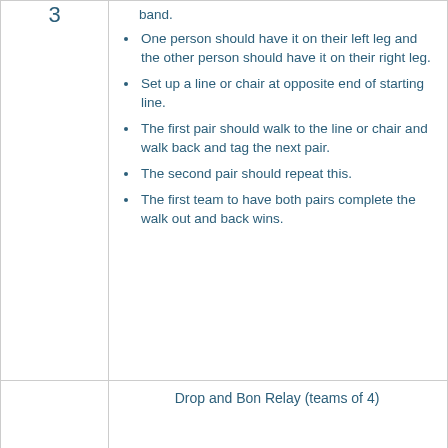band.
One person should have it on their left leg and the other person should have it on their right leg.
Set up a line or chair at opposite end of starting line.
The first pair should walk to the line or chair and walk back and tag the next pair.
The second pair should repeat this.
The first team to have both pairs complete the walk out and back wins.
Drop and Bon Relay (teams of 4)